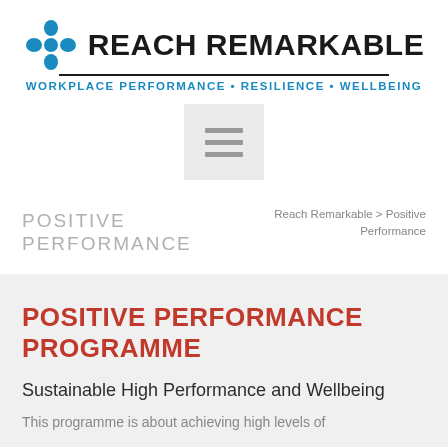[Figure (logo): Reach Remarkable logo with blue star/cross icon and tagline WORKPLACE PERFORMANCE · RESILIENCE · WELLBEING]
[Figure (screenshot): Hamburger menu button (three horizontal lines) on a light grey background]
POSITIVE PERFORMANCE
Reach Remarkable > Positive Performance
POSITIVE PERFORMANCE PROGRAMME
Sustainable High Performance and Wellbeing
This programme is about achieving high levels of